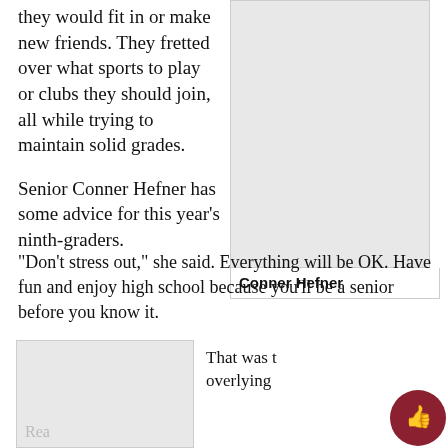they would fit in or make new friends. They fretted over what sports to play or clubs they should join, all while trying to maintain solid grades.
[Figure (photo): Photo of Conner Hefner]
Conner Hefner
Senior Conner Hefner has some advice for this year's ninth-graders.
“Don’t stress out,” she said. Everything will be OK. Have fun and enjoy high school because you’ll be a senior before you know it.
[Figure (photo): Partially visible photo at bottom left with label 'Rea']
That was t overlying